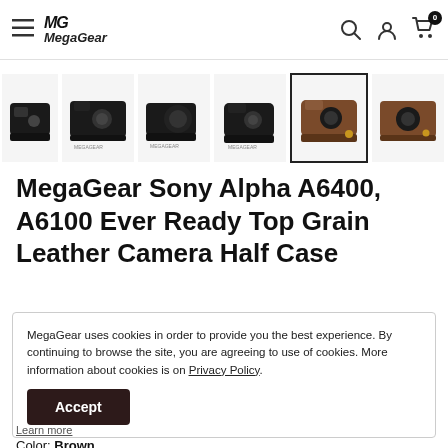MegaGear — Navigation bar with logo, search, account, and cart icons
[Figure (photo): Horizontal scrollable thumbnail strip showing multiple product photos of camera leather half cases in black and brown colors. The 5th thumbnail is selected with a border.]
MegaGear Sony Alpha A6400, A6100 Ever Ready Top Grain Leather Camera Half Case
MegaGear uses cookies in order to provide you the best experience. By continuing to browse the site, you are agreeing to use of cookies. More information about cookies is on Privacy Policy. Accept
Learn more
Color: Brown